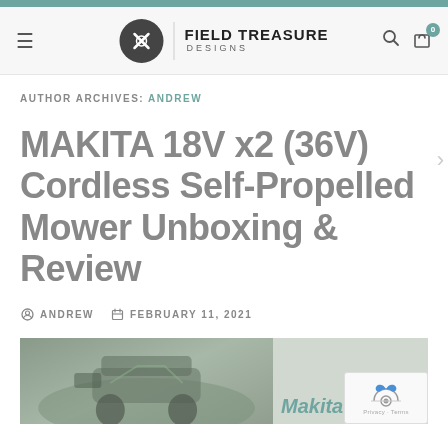Field Treasure Designs — navigation header
AUTHOR ARCHIVES: ANDREW
MAKITA 18V x2 (36V) Cordless Self-Propelled Mower Unboxing & Review
ANDREW   FEBRUARY 11, 2021
[Figure (photo): Thumbnail image of Makita cordless lawn mower with Makita branding text on right side]